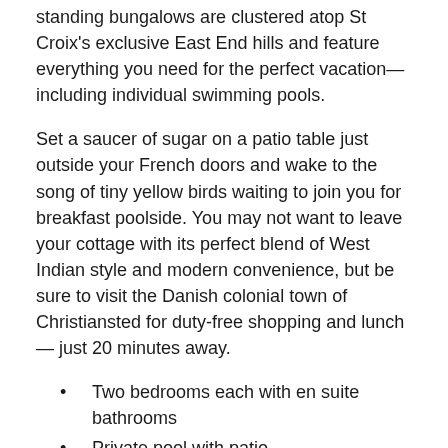standing bungalows are clustered atop St Croix's exclusive East End hills and feature everything you need for the perfect vacation—including individual swimming pools.
Set a saucer of sugar on a patio table just outside your French doors and wake to the song of tiny yellow birds waiting to join you for breakfast poolside. You may not want to leave your cottage with its perfect blend of West Indian style and modern convenience, but be sure to visit the Danish colonial town of Christiansted for duty-free shopping and lunch— just 20 minutes away.
Two bedrooms each with en suite bathrooms
Private pool with patio
Minutes from Divi Carina Bay Casino